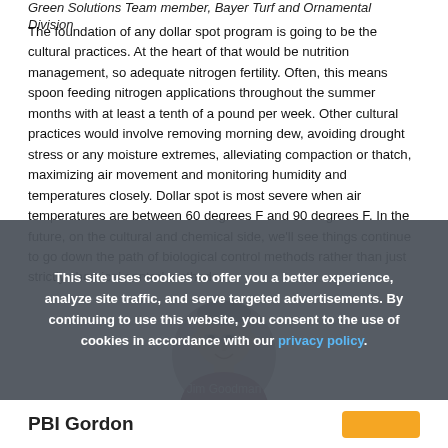Green Solutions Team member, Bayer Turf and Ornamental Division
The foundation of any dollar spot program is going to be the cultural practices. At the heart of that would be nutrition management, so adequate nitrogen fertility. Often, this means spoon feeding nitrogen applications throughout the summer months with at least a tenth of a pound per week. Other cultural practices would involve removing morning dew, avoiding drought stress or any moisture extremes, alleviating compaction or thatch, maximizing air movement and monitoring humidity and temperatures closely. Dollar spot is most severe when air temperatures are between 60 degrees F and 90 degrees F. In the future, on the cultural and chemical side, we'll see things continue to go down the path of biological control methods rather than just strictly chemical control methods.
[Figure (photo): Headshot of Jim Goodman, a smiling middle-aged man with glasses and a dark red patterned shirt]
This site uses cookies to offer you a better experience, analyze site traffic, and serve targeted advertisements. By continuing to use this website, you consent to the use of cookies in accordance with our privacy policy.
Jim Goodman
PBI Gordon